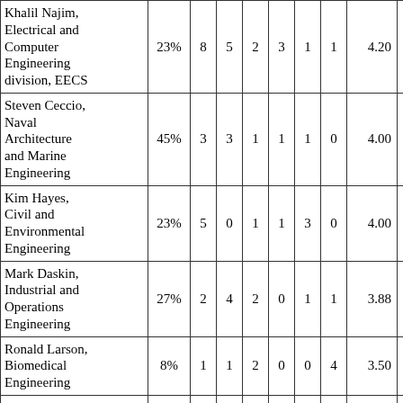| Name, Department | % |  |  |  |  |  |  | Score1 | Score2 |
| --- | --- | --- | --- | --- | --- | --- | --- | --- | --- |
| Khalil Najim, Electrical and Computer Engineering division, EECS | 23% | 8 | 5 | 2 | 3 | 1 | 1 | 4.20 | 4.5 |
| Steven Ceccio, Naval Architecture and Marine Engineering | 45% | 3 | 3 | 1 | 1 | 1 | 0 | 4.00 | 4.2 |
| Kim Hayes, Civil and Environmental Engineering | 23% | 5 | 0 | 1 | 1 | 3 | 0 | 4.00 | 3.7 |
| Mark Daskin, Industrial and Operations Engineering | 27% | 2 | 4 | 2 | 0 | 1 | 1 | 3.88 | 3.7 |
| Ronald Larson, Biomedical Engineering | 8% | 1 | 1 | 2 | 0 | 0 | 4 | 3.50 |  |
| Peter Green, Materials Science and | 10% | 0 | 1 | 1 | 2 | 0 | 0 | 2.50 | 4.6 |